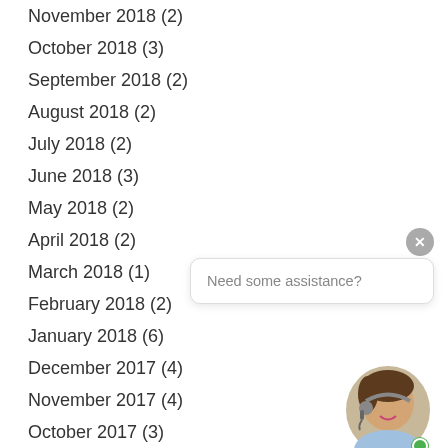November 2018 (2)
October 2018 (3)
September 2018 (2)
August 2018 (2)
July 2018 (2)
June 2018 (3)
May 2018 (2)
April 2018 (2)
March 2018 (1)
February 2018 (2)
January 2018 (6)
December 2017 (4)
November 2017 (4)
October 2017 (3)
September 2017 (5)
[Figure (illustration): Chat widget with close button, speech bubble saying 'Need some assistance?' and a customer service avatar with green online indicator dot]